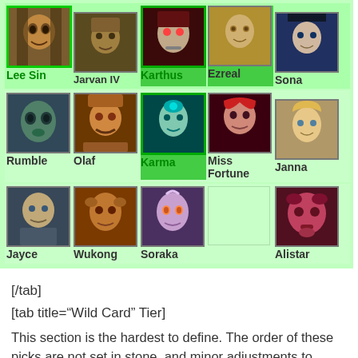[Figure (infographic): Champion tier grid showing League of Legends champions in a 5x3 grid with green highlight backgrounds. Row 1: Lee Sin (green border), Jarvan IV, Karthus (green bg), Ezreal (green bg), Sona. Row 2: Rumble, Olaf, Karma (green bg), Miss Fortune, Janna. Row 3: Jayce, Wukong, Soraka, (empty), Alistar.]
[/tab]
[tab title="Wild Card" Tier]
This section is the hardest to define. The order of these picks are not set in stone, and minor adjustments to these champions could catapult these champions to competitive-viable or even top-tier. These